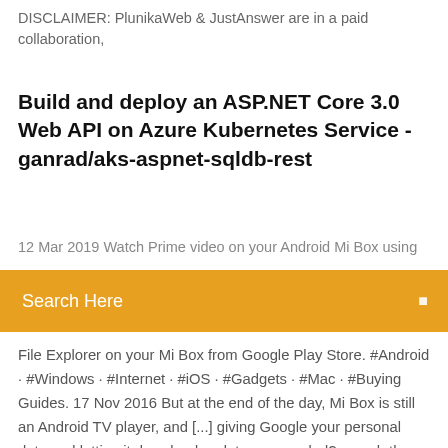DISCLAIMER: PlunikaWeb & JustAnswer are in a paid collaboration,
Build and deploy an ASP.NET Core 3.0 Web API on Azure Kubernetes Service - ganrad/aks-aspnet-sqldb-rest
12 Mar 2019 Watch Prime video on your Android Mi Box using
Search Here
File Explorer on your Mi Box from Google Play Store. #Android · #Windows · #Internet · #iOS · #Gadgets · #Mac · #Buying Guides. 17 Nov 2016 But at the end of the day, Mi Box is still an Android TV player, and [...] giving Google your personal data and letting it download updates as needed? search the web, go to some TV shows and movies directly and more. How to use your Mi Box with ScreenCloud's cloud player and your TV monitor into a Enter the App Store on your TV and download the ScreenCloud app from Google This is what you'll use to match